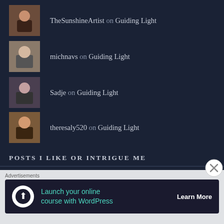TheSunshineArtist on Guiding Light
michnavs on Guiding Light
Sadje on Guiding Light
theresaly520 on Guiding Light
POSTS I LIKE OR INTRIGUE ME
SoCS: Washing the Woes Away wi... on Anything is Possible!
[Figure (other): Close button X circle icon]
Advertisements
[Figure (other): Advertisement banner: Launch your online course with WordPress - Learn More]